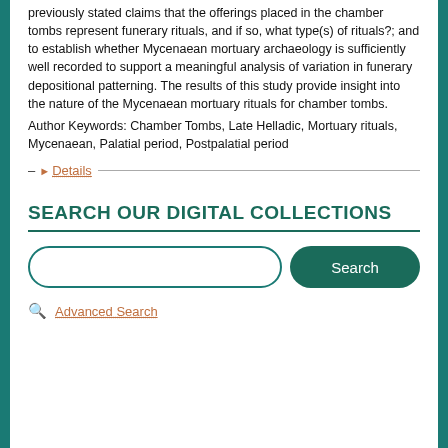previously stated claims that the offerings placed in the chamber tombs represent funerary rituals, and if so, what type(s) of rituals?; and to establish whether Mycenaean mortuary archaeology is sufficiently well recorded to support a meaningful analysis of variation in funerary depositional patterning. The results of this study provide insight into the nature of the Mycenaean mortuary rituals for chamber tombs.
Author Keywords: Chamber Tombs, Late Helladic, Mortuary rituals, Mycenaean, Palatial period, Postpalatial period
– ▶ Details
SEARCH OUR DIGITAL COLLECTIONS
Advanced Search